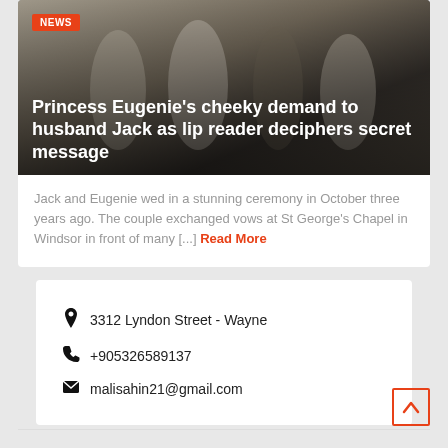[Figure (photo): Wedding photo of Princess Eugenie and husband Jack with other guests in formal attire]
Princess Eugenie's cheeky demand to husband Jack as lip reader deciphers secret message
Jack and Eugenie wed in a stunning ceremony in October three years ago. The couple exchanged vows at St George's Chapel in Windsor in front of many [...] Read More
3312 Lyndon Street - Wayne
+905326589137
malisahin21@gmail.com